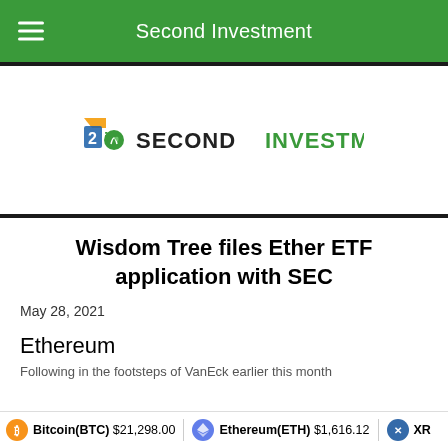Second Investment
[Figure (logo): Second Investment logo with stylized '2i' icon and text SECONDINVESTMENT in dark/green colors]
Wisdom Tree files Ether ETF application with SEC
May 28, 2021
Ethereum
Following in the footsteps of VanEck earlier this month
Bitcoin(BTC) $21,298.00    Ethereum(ETH) $1,616.12    XR